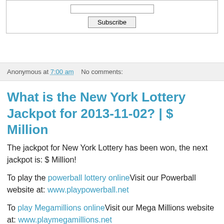[Figure (screenshot): Subscribe box with input field and Subscribe button]
Anonymous at 7:00 am   No comments:
What is the New York Lottery Jackpot for 2013-11-02? | $ Million
The jackpot for New York Lottery has been won, the next jackpot is: $ Million!
To play the powerball lottery online Visit our Powerball website at: www.playpowerball.net
To play Megamillions online Visit our Mega Millions website at: www.playmegamillions.net
To Play Euro Lottery Online Visit our Euro Millions website at: